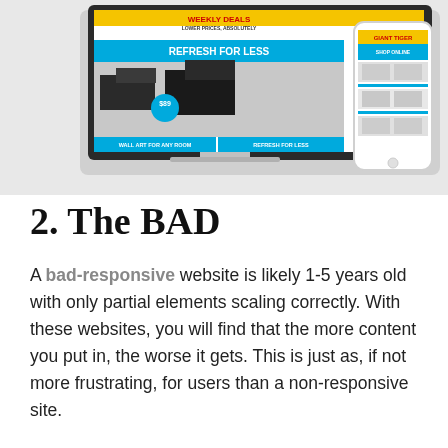[Figure (screenshot): Screenshot showing a retail website (Giant Tiger) displayed on a laptop and a mobile phone. The website shows 'Weekly Deals', 'Refresh for Less' promotional banner with furniture items priced at $89, and navigation options like 'Wall Art for Any Room' and 'Refresh for Less'. The mobile phone on the right also shows the Giant Tiger website.]
2. The BAD
A bad-responsive website is likely 1-5 years old with only partial elements scaling correctly. With these websites, you will find that the more content you put in, the worse it gets. This is just as, if not more frustrating, for users than a non-responsive site.